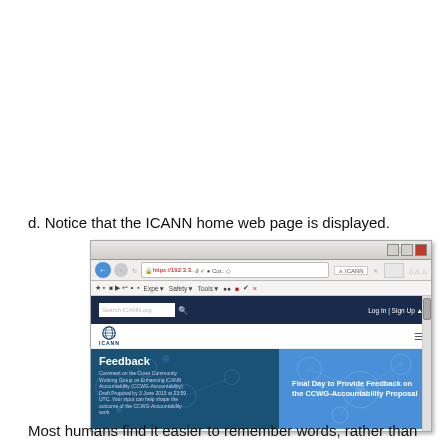d. Notice that the ICANN home web page is displayed.
[Figure (screenshot): Screenshot of a web browser displaying the ICANN home web page. The browser shows the ICANN website with a Feedback banner, options to comment on the Cross Community Working Group on Enhancing ICANN Accountability (CCWG-Accountability) Draft Proposal by 3 June 2015 at 23:59 UTC, and a panel saying 'Final Day to Provide Feedback on the CCWG-Accountability Proposal'.]
Most humans find it easier to remember words, rather than